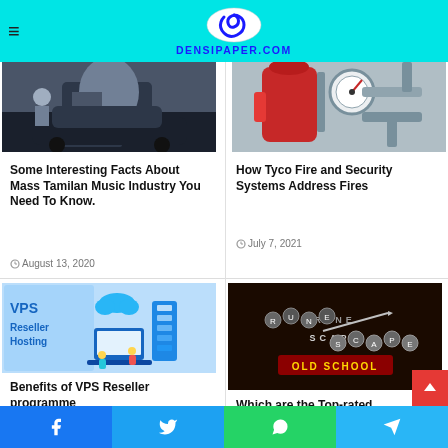DENSIPAPER.COM
[Figure (photo): Person near a dark car, outdoor setting]
[Figure (photo): Red fire suppression system with pressure gauge and pipes]
Some Interesting Facts About Mass Tamilan Music Industry You Need To Know.
August 13, 2020
How Tyco Fire and Security Systems Address Fires
July 7, 2021
[Figure (illustration): VPS Reseller Hosting illustration with servers and cloud]
[Figure (logo): RuneScape Old School logo on dark background]
Benefits of VPS Reseller programme
Which are the Top-rated